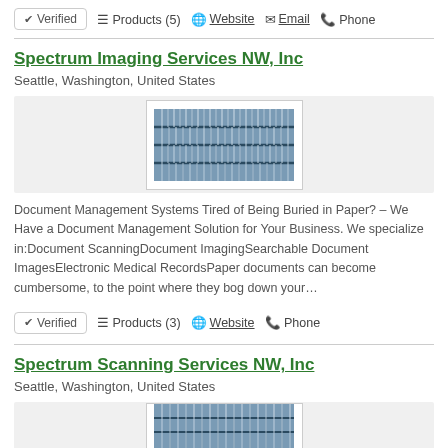✔ Verified   ≡ Products (5)   🌐 Website   ✉ Email   ✆ Phone
Spectrum Imaging Services NW, Inc
Seattle, Washington, United States
[Figure (photo): Photo of shelves filled with rows of documents/files]
Document Management Systems Tired of Being Buried in Paper? – We Have a Document Management Solution for Your Business. We specialize in:Document ScanningDocument ImagingSearchable Document ImagesElectronic Medical RecordsPaper documents can become cumbersome, to the point where they bog down your…
✔ Verified   ≡ Products (3)   🌐 Website   ✆ Phone
Spectrum Scanning Services NW, Inc
Seattle, Washington, United States
[Figure (photo): Photo of shelves filled with rows of documents/files (partial)]